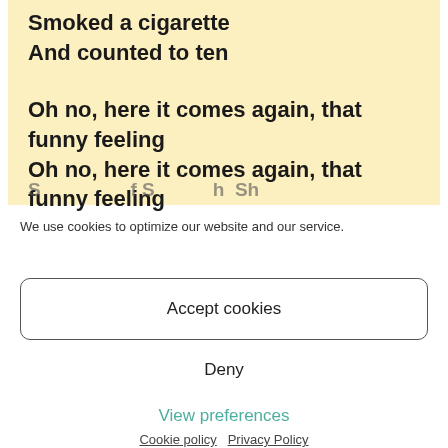Smoked a cigarette
And counted to ten

Oh no, here it comes again, that funny feeling
Oh no, here it comes again, that funny feeling
We use cookies to optimize our website and our service.
Accept cookies
Deny
View preferences
Cookie policy   Privacy Policy